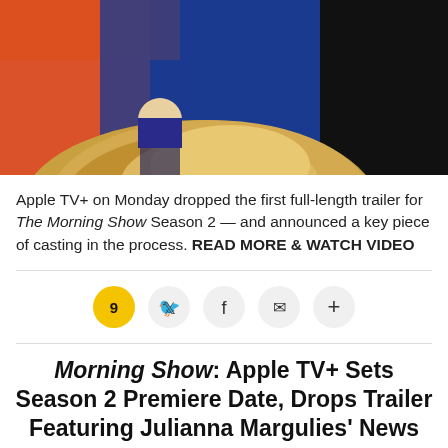[Figure (photo): Close-up photo of a blonde woman, with colorful background including orange and blue tones]
Apple TV+ on Monday dropped the first full-length trailer for The Morning Show Season 2 — and announced a key piece of casting in the process. READ MORE & WATCH VIDEO
[Figure (infographic): Social sharing bar with comment count (9), Twitter, Facebook, email, and plus icons]
Morning Show: Apple TV+ Sets Season 2 Premiere Date, Drops Trailer Featuring Julianna Margulies' News 'Icon'
By Michael Ausiello / June 14 2021, 6:00 AM PDT